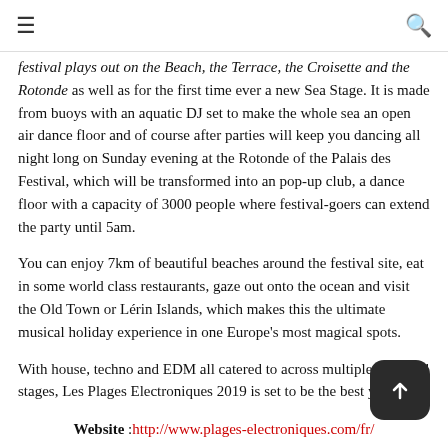≡  🔍
festival plays out on the Beach, the Terrace, the Croisette and the Rotonde as well as for the first time ever a new Sea Stage. It is made from buoys with an aquatic DJ set to make the whole sea an open air dance floor and of course after parties will keep you dancing all night long on Sunday evening at the Rotonde of the Palais des Festival, which will be transformed into an pop-up club, a dance floor with a capacity of 3000 people where festival-goers can extend the party until 5am.
You can enjoy 7km of beautiful beaches around the festival site, eat in some world class restaurants, gaze out onto the ocean and visit the Old Town or Lérin Islands, which makes this the ultimate musical holiday experience in one Europe's most magical spots.
With house, techno and EDM all catered to across multiple days and stages, Les Plages Electroniques 2019 is set to be the best yet.
Website :http://www.plages-electroniques.com/fr/
Facebook :https://www.facebook.com/lesplages/